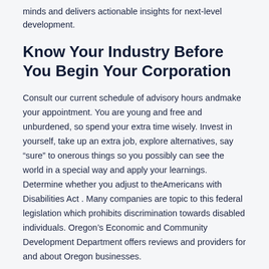minds and delivers actionable insights for next-level development.
Know Your Industry Before You Begin Your Corporation
Consult our current schedule of advisory hours andmake your appointment. You are young and free and unburdened, so spend your extra time wisely. Invest in yourself, take up an extra job, explore alternatives, say “sure” to onerous things so you possibly can see the world in a special way and apply your learnings. Determine whether you adjust to theAmericans with Disabilities Act . Many companies are topic to this federal legislation which prohibits discrimination towards disabled individuals. Oregon’s Economic and Community Development Department offers reviews and providers for and about Oregon businesses.
Some of essentially the most acknowledged